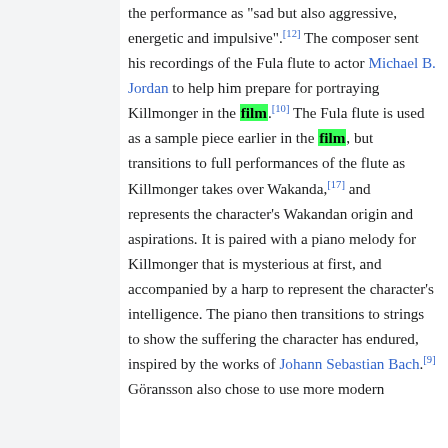the performance as "sad but also aggressive, energetic and impulsive".[12] The composer sent his recordings of the Fula flute to actor Michael B. Jordan to help him prepare for portraying Killmonger in the film.[10] The Fula flute is used as a sample piece earlier in the film, but transitions to full performances of the flute as Killmonger takes over Wakanda,[17] and represents the character's Wakandan origin and aspirations. It is paired with a piano melody for Killmonger that is mysterious at first, and accompanied by a harp to represent the character's intelligence. The piano then transitions to strings to show the suffering the character has endured, inspired by the works of Johann Sebastian Bach.[9] Göransson also chose to use more modern